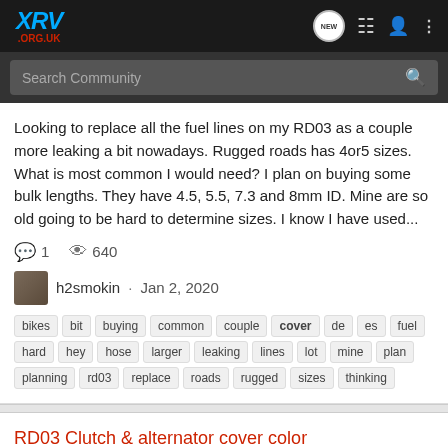XRV .ORG.UK
Looking to replace all the fuel lines on my RD03 as a couple more leaking a bit nowadays. Rugged roads has 4or5 sizes. What is most common I would need? I plan on buying some bulk lengths. They have 4.5, 5.5, 7.3 and 8mm ID. Mine are so old going to be hard to determine sizes. I know I have used...
1  640
h2smokin · Jan 2, 2020
bikes  bit  buying  common  couple  cover  de  es  fuel  hard  hey  hose  larger  leaking  lines  lot  mine  plan  planning  rd03  replace  roads  rugged  sizes  thinking
RD03 Clutch & alternator cover color